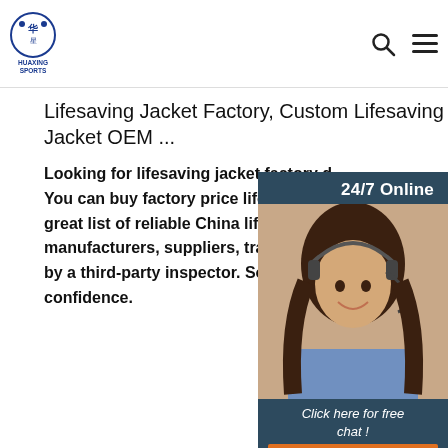HUAXING SPORTS
Lifesaving Jacket Factory, Custom Lifesaving Jacket OEM ...
Looking for lifesaving jacket factory d... You can buy factory price lifesaving ja... great list of reliable China lifesaving ja... manufacturers, suppliers, traders or pla... by a third-party inspector. Source with... confidence.
[Figure (photo): Customer service representative woman with headset, 24/7 Online chat widget with blue background, QUOTATION button in orange]
Get Price
[Figure (photo): Red lifesaving jacket product photo at bottom left]
[Figure (illustration): Orange TOP scroll-to-top button with dots above text]